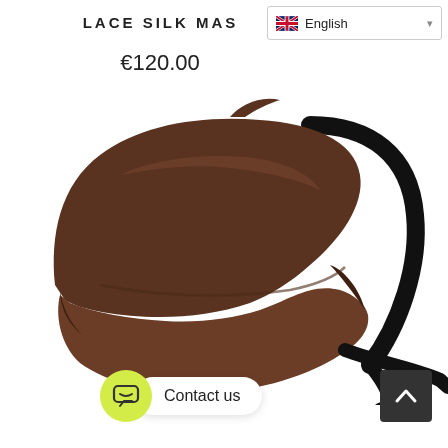LACE SILK MA…
English (language selector)
€120.00
[Figure (photo): A brown silk face mask with black ear loops, shown in profile view against a white background.]
Contact us
Scroll to top button